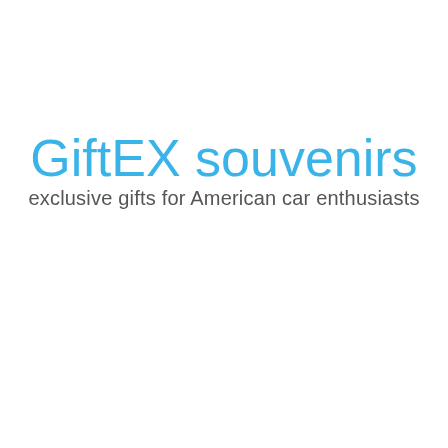GiftEX souvenirs
exclusive gifts for American car enthusiasts